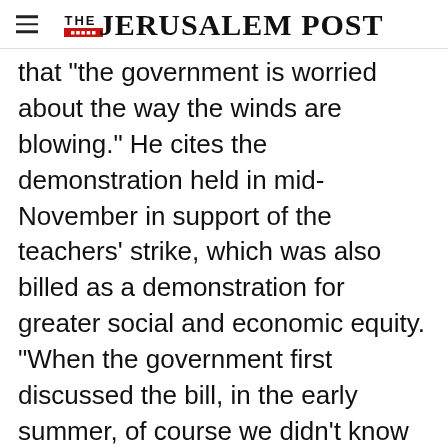THE JERUSALEM POST
that "the government is worried about the way the winds are blowing." He cites the demonstration held in mid-November in support of the teachers' strike, which was also billed as a demonstration for greater social and economic equity. "When the government first discussed the bill, in the early summer, of course we didn't know that 100,000 people would turn out for a demonstration in support of the teachers, but we
Advertisement